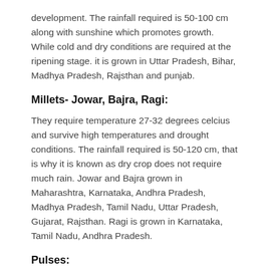development. The rainfall required is 50-100 cm along with sunshine which promotes growth. While cold and dry conditions are required at the ripening stage. it is grown in Uttar Pradesh, Bihar, Madhya Pradesh, Rajsthan and punjab.
Millets- Jowar, Bajra, Ragi:
They require temperature 27-32 degrees celcius and survive high temperatures and drought conditions. The rainfall required is 50-120 cm, that is why it is known as dry crop does not require much rain. Jowar and Bajra grown in Maharashtra, Karnataka, Andhra Pradesh, Madhya Pradesh, Tamil Nadu, Uttar Pradesh, Gujarat, Rajsthan. Ragi is grown in Karnataka, Tamil Nadu, Andhra Pradesh.
Pulses: